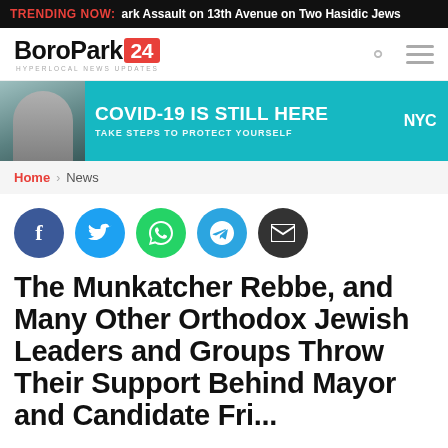TRENDING NOW: ark Assault on 13th Avenue on Two Hasidic Jews
[Figure (logo): BoroPark24 logo with red box containing '24' and tagline 'HYPERLOCAL NEWS UPDATES']
[Figure (infographic): COVID-19 IS STILL HERE - TAKE STEPS TO PROTECT YOURSELF - NYC ad banner with masked person]
Home > News
[Figure (infographic): Social share buttons: Facebook, Twitter, WhatsApp, Telegram, Email]
The Munkatcher Rebbe, and Many Other Orthodox Jewish Leaders and Groups Throw Their Support Behind Mayor and Candidate Fri...